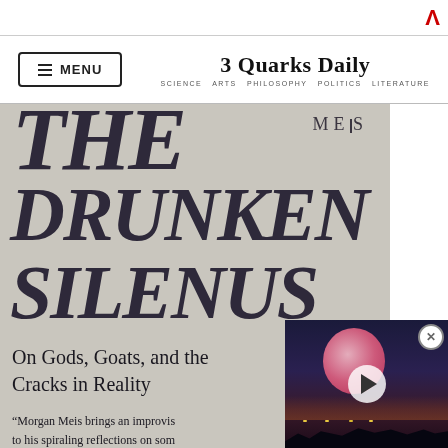3 Quarks Daily — SCIENCE ARTS PHILOSOPHY POLITICS LITERATURE
[Figure (photo): Book cover of 'The Drunken Silenus: On Gods, Goats, and the Cracks in Reality' by Morgan Meis, showing large stylized title text on a textured grey background, with a partial blurb text beginning 'Morgan Meis brings an improvis... to his spiraling reflections on some... philosophic questions. He move... zlingly—between the art of Rubens... Nietzsche, and the enigmas of Gre... Everywhere he turns, he finds hi... with what he calls the troubles o...' A video overlay appears in the bottom right with a pink moon and a play button.]